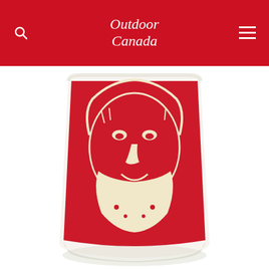Outdoor Canada
[Figure (photo): Close-up of a decorative glass with a red and cream woodcut-style illustration of a bearded man's face]
[Figure (infographic): Bushnell advertisement: Elite 4500 4X Savings, 30% for 30 Days Mail-In Rebate, showing a rifle scope]